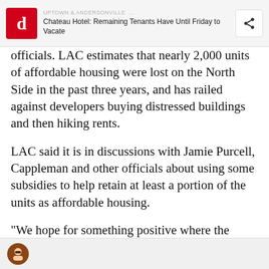UPTOWN & ANDERSONVILLE... | Chateau Hotel: Remaining Tenants Have Until Friday to Vacate
officials. LAC estimates that nearly 2,000 units of affordable housing were lost on the North Side in the past three years, and has railed against developers buying distressed buildings and then hiking rents.
LAC said it is in discussions with Jamie Purcell, Cappleman and other officials about using some subsidies to help retain at least a portion of the units as affordable housing.
“We hope for something positive where the building can be improved and still provide some affordable housing,” Ritter said.